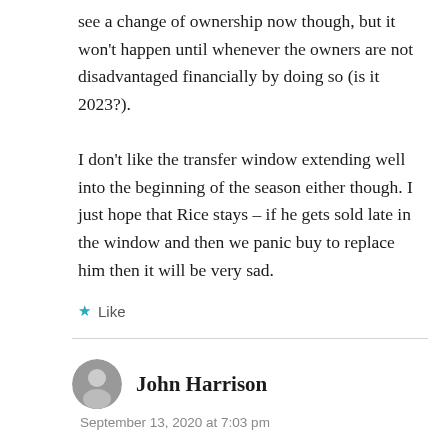see a change of ownership now though, but it won't happen until whenever the owners are not disadvantaged financially by doing so (is it 2023?).
I don't like the transfer window extending well into the beginning of the season either though. I just hope that Rice stays – if he gets sold late in the window and then we panic buy to replace him then it will be very sad.
★ Like
John Harrison
September 13, 2020 at 7:03 pm
I agree completely about the transfer window